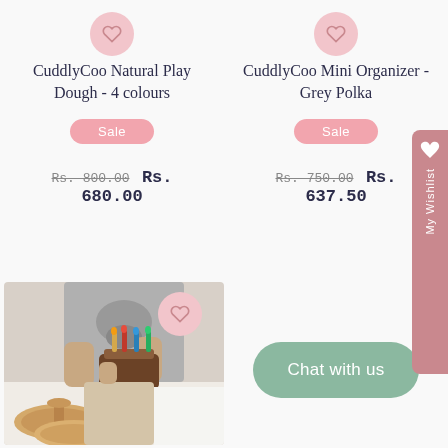CuddlyCoo Natural Play Dough - 4 colours
Sale
Rs. 800.00 Rs. 680.00
CuddlyCoo Mini Organizer - Grey Polka
Sale
Rs. 750.00 Rs. 637.50
[Figure (photo): Child playing with wooden birthday cake toy on white table, with wooden discs in foreground]
Chat with us
My Wishlist